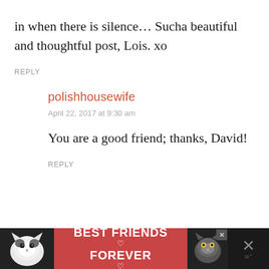in when there is silence… Sucha beautiful and thoughtful post, Lois. xo
REPLY
polishhousewife
April 22, 2017 at 9:30 am
You are a good friend; thanks, David!
REPLY
[Figure (illustration): Advertisement banner showing two cats with text BEST FRIENDS FOREVER and heart symbols on a dark background with a red center panel]